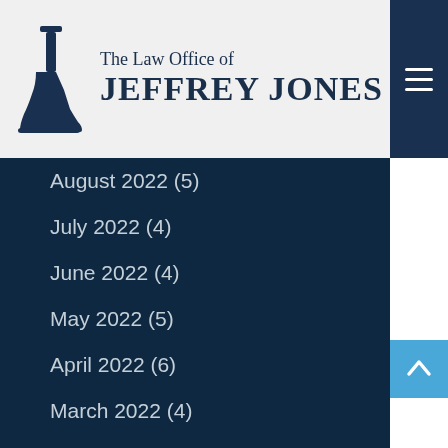[Figure (logo): The Law Office of Jeffrey Jones logo with boot icon]
August 2022 (5)
July 2022 (4)
June 2022 (4)
May 2022 (5)
April 2022 (6)
March 2022 (4)
February 2022 (8)
January 2022 (1)
December 2021(4)
November 2021(4)